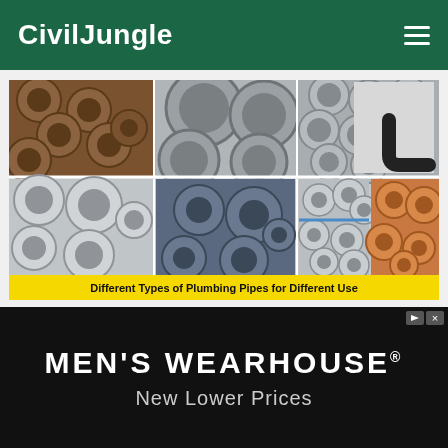CivilJungle
[Figure (photo): A composite image showing six different types of plumbing pipes arranged in a 3x2 grid: brown/clay pipes (top left), large grey concrete pipes (top center-left), grey metal pipe bundles (top center-right), black elbow pipe fitting (top right), blue/dark metal pipes (bottom center-left), galvanized steel pipes with blue markings (bottom center-right), copper pipes (bottom right), and stainless steel pipes (bottom left). Caption bar reads: Different Types of Plumbing Pipes for Different Use]
Different Types of Plumbing Pipes for Different Use
[Figure (infographic): Men's Wearhouse advertisement banner. Black background with white bold text reading MEN'S WEARHOUSE® and grey subtext New Lower Prices]